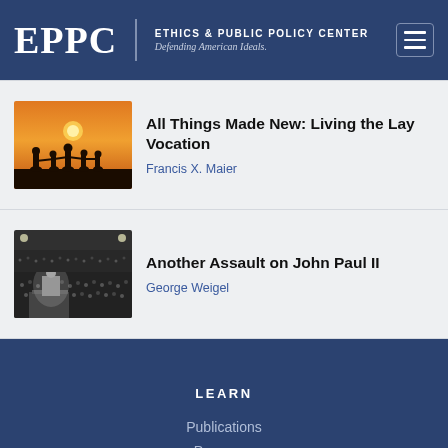EPPC | ETHICS & PUBLIC POLICY CENTER Defending American Ideals.
All Things Made New: Living the Lay Vocation
Francis X. Maier
Another Assault on John Paul II
George Weigel
LEARN
Publications
Programs
Scholars